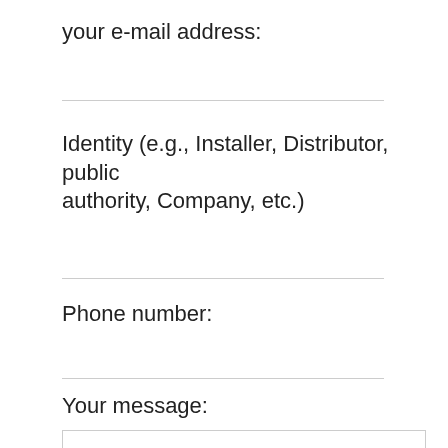your e-mail address:
Identity (e.g., Installer, Distributor, public authority, Company, etc.)
Phone number:
Your message: